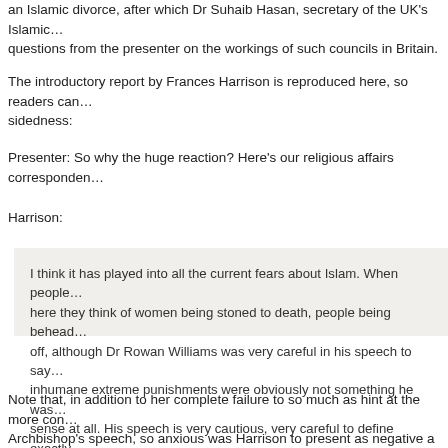an Islamic divorce, after which Dr Suhaib Hasan, secretary of the UK's Islamic ... questions from the presenter on the workings of such councils in Britain.
The introductory report by Frances Harrison is reproduced here, so readers can ... sidedness:
Presenter: So why the huge reaction? Here's our religious affairs correspondent...
Harrison:
I think it has played into all the current fears about Islam. When people here they think of women being stoned to death, people being behead... off, although Dr Rowan Williams was very careful in his speech to say inhumane extreme punishments were obviously not something he was... sense at all. His speech is very cautious, very careful to define exactly... says that just because there's this fear of Sharia law you shouldn't ass... parts of it, are not compatible with democracy or democratic values an... has played into this sort of media frenzy, which I think really comes aft... 7/7 bombings, and the 9/11 bombings, this fear of the 'Other', this fear... into that, and people have seized on the some of the more out of conte... lot of them and not really looked at his remarks in context.
Note that, in addition to her complete failure to so much as hint at the more con... Archbishop's speech, so anxious was Harrison to present as negative a view of...